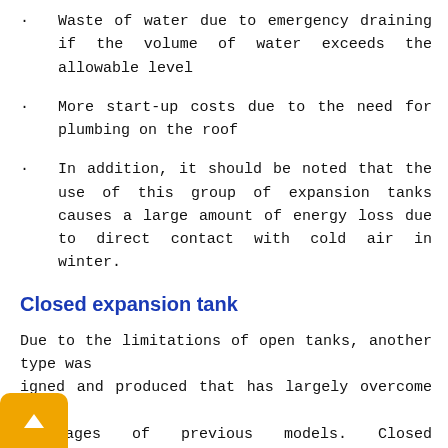Waste of water due to emergency draining if the volume of water exceeds the allowable level
More start-up costs due to the need for plumbing on the roof
In addition, it should be noted that the use of this group of expansion tanks causes a large amount of energy loss due to direct contact with cold air in winter.
Closed expansion tank
Due to the limitations of open tanks, another type was designed and produced that has largely overcome the disadvantages of previous models. Closed expansion